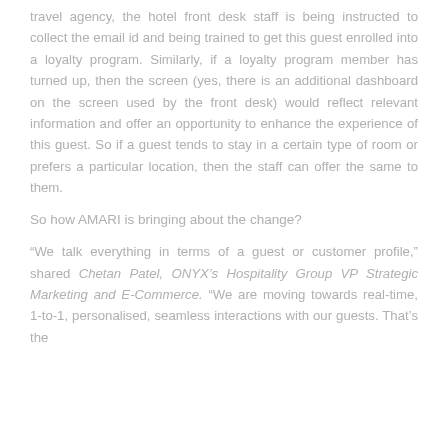travel agency, the hotel front desk staff is being instructed to collect the email id and being trained to get this guest enrolled into a loyalty program. Similarly, if a loyalty program member has turned up, then the screen (yes, there is an additional dashboard on the screen used by the front desk) would reflect relevant information and offer an opportunity to enhance the experience of this guest. So if a guest tends to stay in a certain type of room or prefers a particular location, then the staff can offer the same to them.
So how AMARI is bringing about the change?
“We talk everything in terms of a guest or customer profile,” shared Chetan Patel, ONYX’s Hospitality Group VP Strategic Marketing and E-Commerce. “We are moving towards real-time, 1-to-1, personalised, seamless interactions with our guests. That’s the